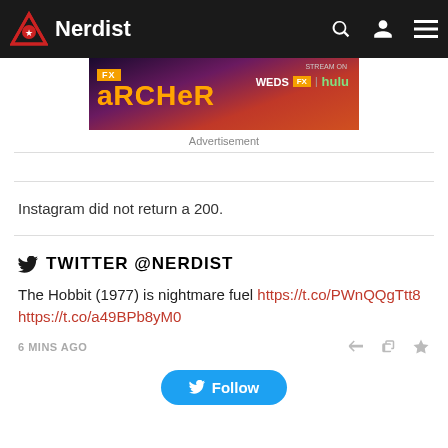Nerdist
[Figure (screenshot): Archer FX animated show advertisement banner - WEDS FX | hulu]
Advertisement
Instagram did not return a 200.
TWITTER @NERDIST
The Hobbit (1977) is nightmare fuel https://t.co/PWnQQgTtt8 https://t.co/a49BPb8yM0
6 MINS AGO